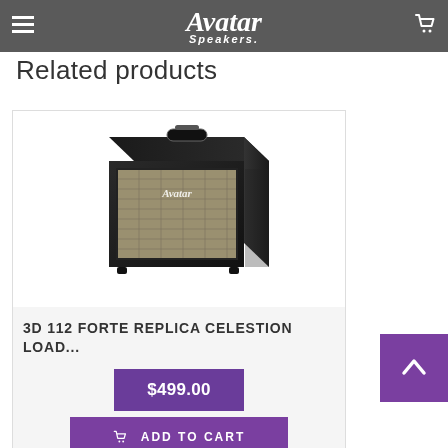Avatar Speakers — navigation header with menu and cart icons
Related products
[Figure (photo): Avatar Speakers 3D 112 Forte guitar speaker cabinet — black tolex with silver grill cloth, viewed at an angle]
3D 112 FORTE REPLICA CELESTION LOAD...
$499.00
ADD TO CART